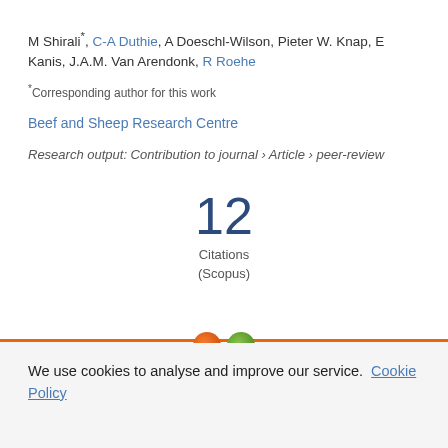M Shirali*, C-A Duthie, A Doeschl-Wilson, Pieter W. Knap, E Kanis, J.A.M. Van Arendonk, R Roehe
*Corresponding author for this work
Beef and Sheep Research Centre
Research output: Contribution to journal › Article › peer-review
12 Citations (Scopus)
We use cookies to analyse and improve our service. Cookie Policy